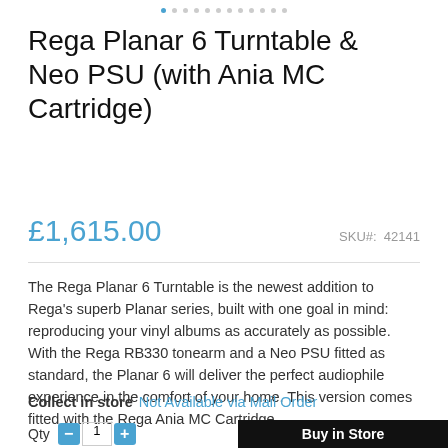• • • • • • • • • • • •
Rega Planar 6 Turntable & Neo PSU (with Ania MC Cartridge)
£1,615.00    SKU#: 42141
The Rega Planar 6 Turntable is the newest addition to Rega's superb Planar series, built with one goal in mind: reproducing your vinyl albums as accurately as possible. With the Rega RB330 tonearm and a Neo PSU fitted as standard, the Planar 6 will deliver the perfect audiophile experience in the comfort of your home. This version comes fitted with the Rega Ania MC Cartridge. . .
Collect in store  Not Available via Mail Order
Qty  -  1  +  Buy in Store